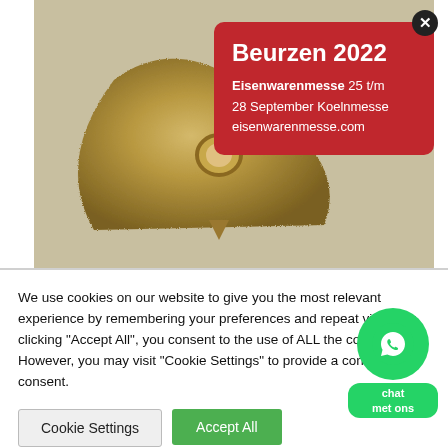[Figure (photo): A triangular carbide/diamond-coated oscillating tool blade with a hole in the center, viewed from above on a light grey background.]
Beurzen 2022
Eisenwarenmesse 25 t/m 28 September Koelnmesse eisenwarenmesse.com
We use cookies on our website to give you the most relevant experience by remembering your preferences and repeat visits. By clicking "Accept All", you consent to the use of ALL the cookies. However, you may visit "Cookie Settings" to provide a controlled consent.
Cookie Settings
Accept All